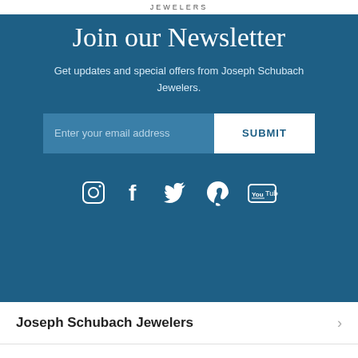JEWELERS
Join our Newsletter
Get updates and special offers from Joseph Schubach Jewelers.
[Figure (screenshot): Email signup form with placeholder text 'Enter your email address' and a white SUBMIT button]
[Figure (infographic): Social media icons: Instagram, Facebook, Twitter, Pinterest, YouTube]
Joseph Schubach Jewelers
Our Company
Customer Service (partial)